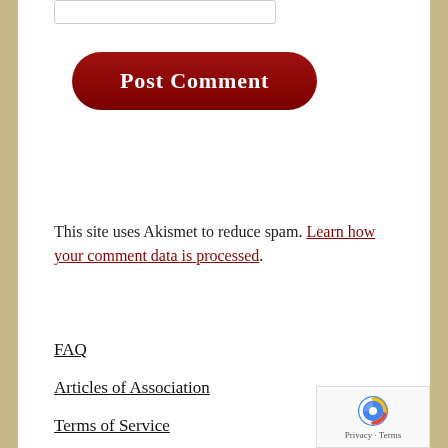[Figure (other): Partial input text box visible at top of page]
[Figure (other): Post Comment button — dark red rounded rectangle with bold white text]
This site uses Akismet to reduce spam. Learn how your comment data is processed.
FAQ
Articles of Association
Terms of Service
Privacy Policy